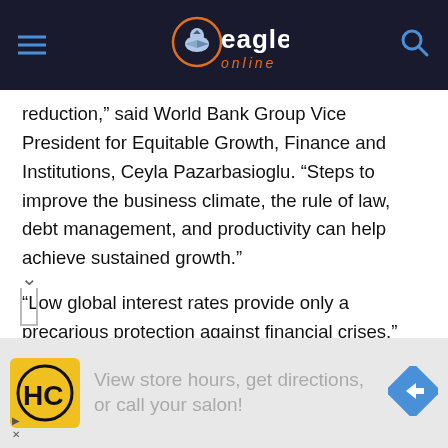Eagle Online
reduction,” said World Bank Group Vice President for Equitable Growth, Finance and Institutions, Ceyla Pazarbasioglu. “Steps to improve the business climate, the rule of law, debt management, and productivity can help achieve sustained growth.”
“Low global interest rates provide only a precarious protection against financial crises,” said World Bank Prospects Group Director Ayhan Kose. “The history of past waves of debt accumulation shows that these waves tend to have unhappy endings. In a fragile global environment, policy improvements are critical to minimize
[Figure (other): Advertisement banner: HC logo, text 'View store hours, get directions, or call your salon!', navigation arrow icon]